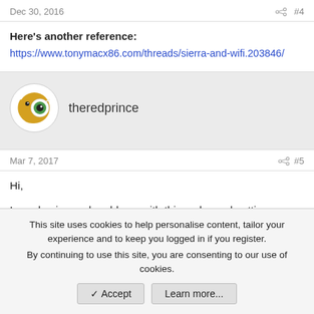Dec 30, 2016   #4
Here's another reference:
https://www.tonymacx86.com/threads/sierra-and-wifi.203846/
[Figure (illustration): User avatar for theredprince — a cartoon pacman-like character with eyes]
theredprince
Mar 7, 2017   #5
Hi,

I was having real problems with this mobo and getting bluetooth to work. I read that the built in card should work but I now realise it simply is reliable and worse it was causing
This site uses cookies to help personalise content, tailor your experience and to keep you logged in if you register.
By continuing to use this site, you are consenting to our use of cookies.
✓ Accept   Learn more...